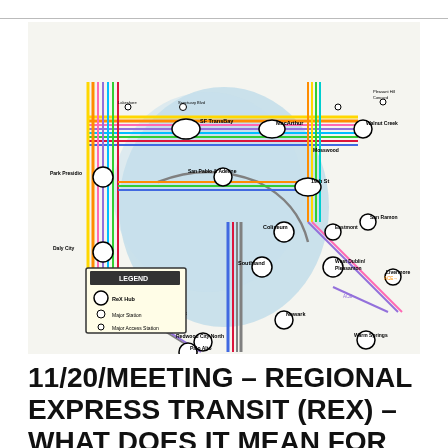[Figure (map): A transit map of the San Francisco Bay Area regional express transit (REX) network, showing colored lines (BART, Caltrain, ACE, and other regional transit lines), hub stations (large circles), and station labels. The map includes a legend showing ReX Hub, Major Station, and Major Access Station symbols. Visible stations include SF TransBay, Park Presidio, Daly City, SFO, Hayward Park, Redwood City North, Palo Alto, MacArthur, 19th St, Coliseum, Southland, Newark, West Dublin/Pleasanton, Walnut Creek, San Ramon, Eastmont, Livermore, and Warm Springs.]
11/20/MEETING – REGIONAL EXPRESS TRANSIT (REX) – WHAT DOES IT MEAN FOR THE SOUTH BAY?